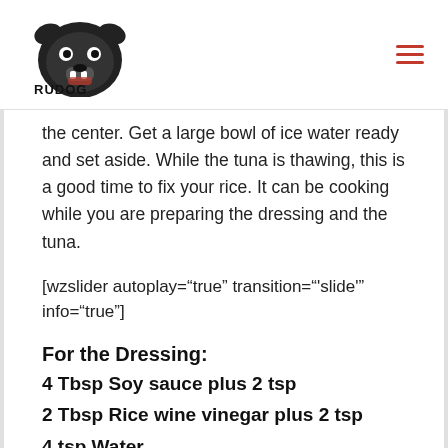RUDOG attack nutrition
the center. Get a large bowl of ice water ready and set aside. While the tuna is thawing, this is a good time to fix your rice. It can be cooking while you are preparing the dressing and the tuna.
[wzslider autoplay="true" transition="'slide'" info="true"]
For the Dressing:
4 Tbsp Soy sauce plus 2 tsp
2 Tbsp Rice wine vinegar plus 2 tsp
4 tsp Water
1 tsp Sugar